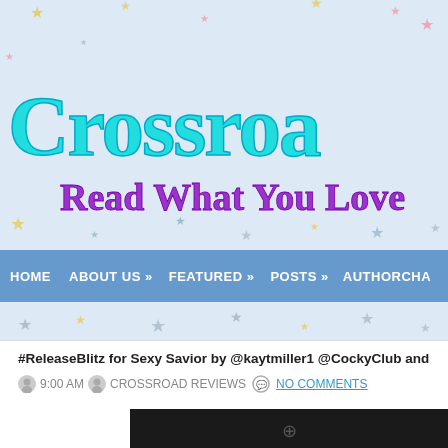[Figure (screenshot): Blog website header with star-decorated light blue background, large cyan 'Crossroa' title text and purple 'Read What You Love' subtitle]
HOME   ABOUT US »   FEATURED »   POSTS »   AUTHORCHA
#ReleaseBlitz for Sexy Savior by @kaytmiller1 @CockyClub and
9:00 AM   CROSSROAD REVIEWS   NO COMMENTS
[Figure (photo): Partial book cover image visible at bottom of page]